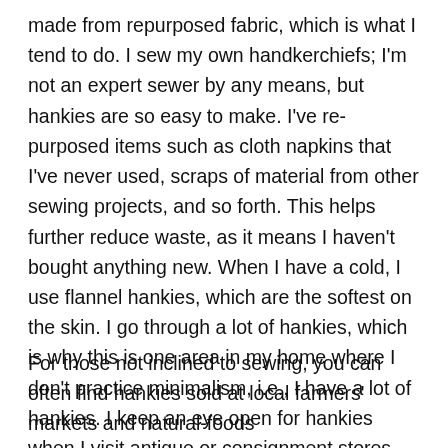made from repurposed fabric, which is what I tend to do. I sew my own handkerchiefs; I'm not an expert sewer by any means, but hankies are so easy to make. I've re-purposed items such as cloth napkins that I've never used, scraps of material from other sewing projects, and so forth. This helps further reduce waste, as it means I haven't bought anything new. When I have a cold, I use flannel hankies, which are the softest on the skin. I go through a lot of hankies, which is why this is one area in my home where I don't practice minimalism, i.e., I have a lot of hankies. I keep an eye open for hankies when I visit antique or consignment stores and have found some lovely embroidered hankies over the years.
For those not inclined to sewing, you can often find hankies sold at local farmers' markets and natural-foods stores, though often a little pricier. The...